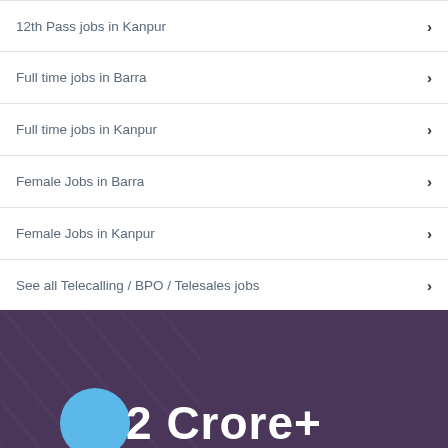12th Pass jobs in Kanpur
Full time jobs in Barra
Full time jobs in Kanpur
Female Jobs in Barra
Female Jobs in Kanpur
See all Telecalling / BPO / Telesales jobs
All Jobs in Kanpur
[Figure (illustration): Dark purple banner section with diagonal stripe pattern and large white bold text '2 Crore+' partially visible at bottom, with a blue circle icon on the left]